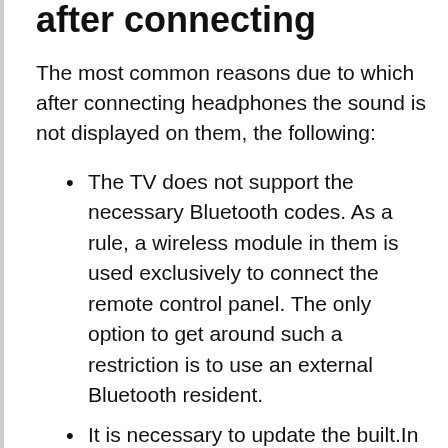after connecting
The most common reasons due to which after connecting headphones the sound is not displayed on them, the following:
The TV does not support the necessary Bluetooth codes. As a rule, a wireless module in them is used exclusively to connect the remote control panel. The only option to get around such a restriction is to use an external Bluetooth resident.
It is necessary to update the built.In firmware tv. Many manufacturers have no additional functions from the wireless headphone support plant and the whole spectra. But they are added in the future by releasing an updated built.In